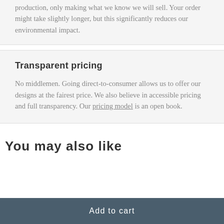production, only making what we know we will sell. Your order might take slightly longer, but this significantly reduces our environmental impact.
Transparent pricing
No middlemen. Going direct-to-consumer allows us to offer our designs at the fairest price. We also believe in accessible pricing and full transparency. Our pricing model is an open book.
You may also like
Add to cart